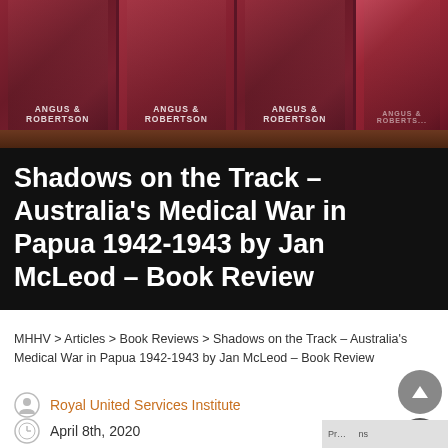[Figure (photo): Row of dark red/burgundy hardcover books with spines labelled 'ANGUS & ROBERTSON' on a wooden shelf, viewed from the front]
Shadows on the Track – Australia's Medical War in Papua 1942-1943 by Jan McLeod – Book Review
MHHV > Articles > Book Reviews > Shadows on the Track – Australia's Medical War in Papua 1942-1943 by Jan McLeod – Book Review
Royal United Services Institute
April 8th, 2020